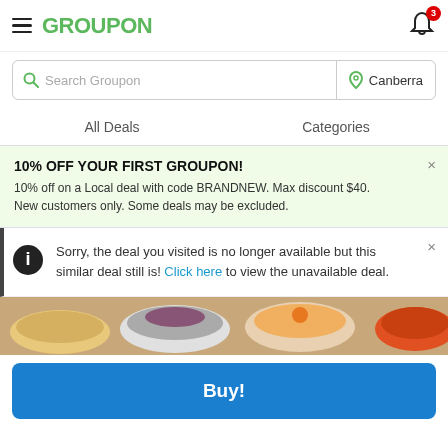GROUPON — Canberra — notifications: 3
Search Groupon | Canberra
All Deals | Categories
10% OFF YOUR FIRST GROUPON! 10% off on a Local deal with code BRANDNEW. Max discount $40. New customers only. Some deals may be excluded.
Sorry, the deal you visited is no longer available but this similar deal still is! Click here to view the unavailable deal.
[Figure (photo): Food bowls photo showing various dishes in bowls on a wooden surface]
Buy!